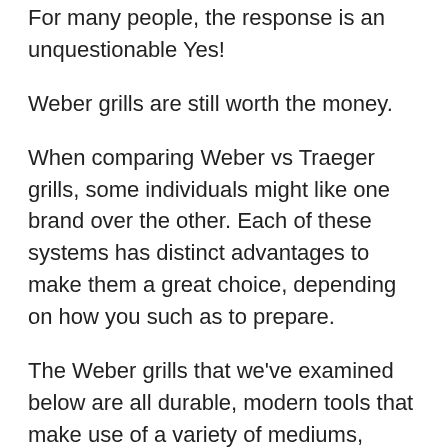For many people, the response is an unquestionable Yes!
Weber grills are still worth the money.
When comparing Weber vs Traeger grills, some individuals might like one brand over the other. Each of these systems has distinct advantages to make them a great choice, depending on how you such as to prepare.
The Weber grills that we've examined below are all durable, modern tools that make use of a variety of mediums, including natural gas, propane, or charcoal.
These devices are easy to use, with push-button ignition systems, simple temperature controls,